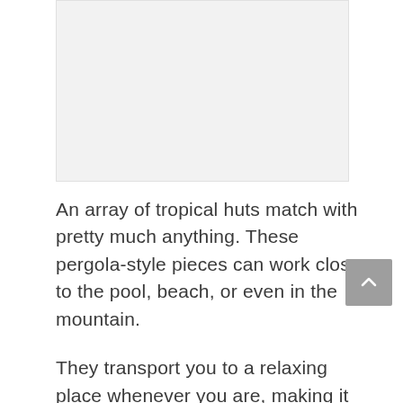[Figure (photo): Placeholder image area at top of page, light gray background]
An array of tropical huts match with pretty much anything. These pergola-style pieces can work close to the pool, beach, or even in the mountain.
They transport you to a relaxing place whenever you are, making it easier to enjoy the pool at any moment.
But they do match tropical areas better, especially those close to coconut trees and other tropical vegetation.
The hairy roofs and the huts' wooden